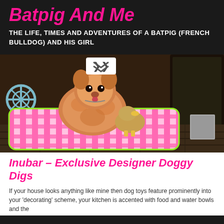Batpig And Me
THE LIFE, TIMES AND ADVENTURES OF A BATPIG (FRENCH BULLDOG) AND HIS GIRL
[Figure (photo): A fluffy Pomeranian dog sitting on a pink and white patterned pillow/cushion on what appears to be a wooden deck, with a stuffed animal toy beside it. A crochet toy is visible on the left, and dark wicker furniture is in the background. A white scroll-down button with chevrons appears at the top center of the image.]
Inubar – Exclusive Designer Doggy Digs
If your house looks anything like mine then dog toys feature prominently into your 'decorating' scheme, your kitchen is accented with food and water bowls and the